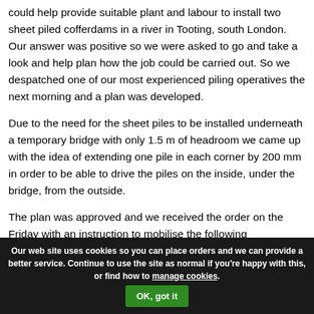could help provide suitable plant and labour to install two sheet piled cofferdams in a river in Tooting, south London. Our answer was positive so we were asked to go and take a look and help plan how the job could be carried out. So we despatched one of our most experienced piling operatives the next morning and a plan was developed.
Due to the need for the sheet piles to be installed underneath a temporary bridge with only 1.5 m of headroom we came up with the idea of extending one pile in each corner by 200 mm in order to be able to drive the piles on the inside, under the bridge, from the outside.
The plan was approved and we received the order on the Friday with an instruction to mobilise the following Wednesday. We also
Our web site uses cookies so you can place orders and we can provide a better service. Continue to use the site as normal if you're happy with this, or find how to manage cookies. OK, got it